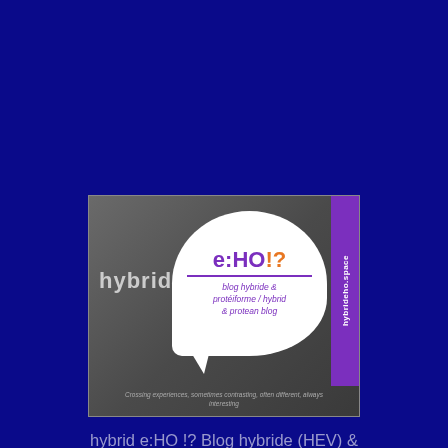[Figure (logo): hybrid e:HO !? blog logo — dark grey textured background with speech bubble containing 'hybrid e:HO!?' text in purple and orange, subtitle 'blog hybride & protéiforme / hybrid & protean blog', purple vertical strip on right with 'hybrideho.space', and tagline 'Crossing experiences, sometimes contrasting, often different, always interesting' at bottom]
hybrid e:HO !? Blog hybride (HEV) & électrique (EV)...en hybride & électrique depuis 2012<> hybrid (HEV) & electric (EV) Blog...driv'in hybrid & electric vehicles since 2012